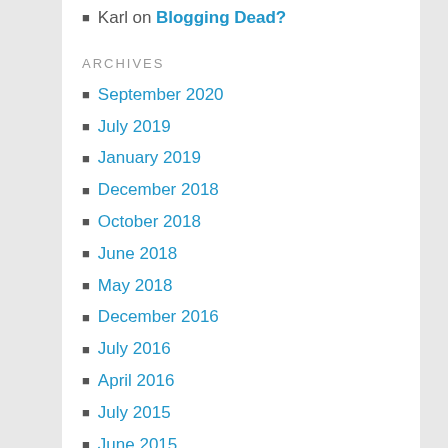Karl on Blogging Dead?
ARCHIVES
September 2020
July 2019
January 2019
December 2018
October 2018
June 2018
May 2018
December 2016
July 2016
April 2016
July 2015
June 2015
April 2015
March 2015
February 2015
January 2015
September 2014
July 2014